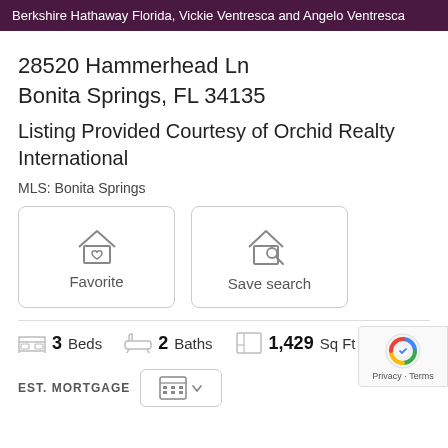Berkshire Hathaway Florida, Vickie Ventresca and Angelo Ventresca
28520 Hammerhead Ln
Bonita Springs, FL 34135
Listing Provided Courtesy of Orchid Realty International
MLS: Bonita Springs
[Figure (other): Two button boxes: Favorite (house with heart icon) and Save search (house with magnifying glass icon)]
3 Beds  2 Baths  1,429 Sq Ft
EST. MORTGAGE